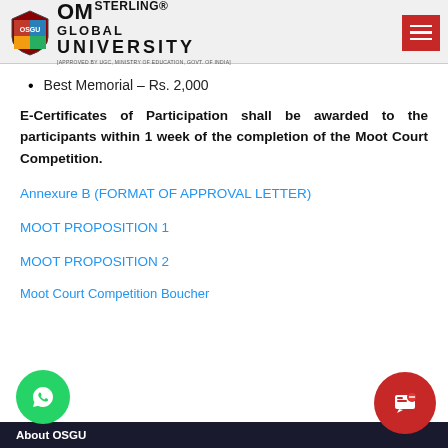OM Sterling Global University | Approved by UGC, Ministry of Education, Govt. of India
Best Memorial – Rs. 2,000
E-Certificates of Participation shall be awarded to the participants within 1 week of the completion of the Moot Court Competition.
Annexure B (FORMAT OF APPROVAL LETTER)
MOOT PROPOSITION 1
MOOT PROPOSITION 2
Moot Court Competition Boucher
About OSGU